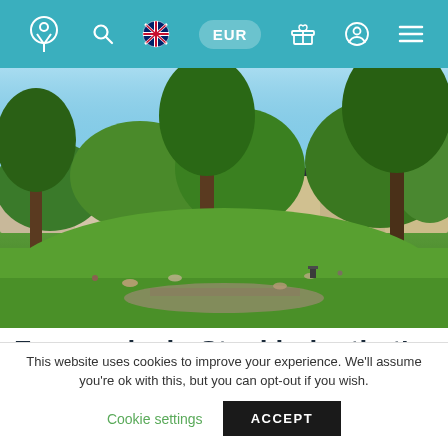Navigation bar with logo, search, language (UK flag), EUR currency selector, gift icon, account icon, menu icon
[Figure (photo): Aerial view of a green park in Stockholm on a sunny day with large trees, green lawn, people relaxing, and city buildings visible in the background under a blue sky]
Four parks in Stockholm that's
This website uses cookies to improve your experience. We'll assume you're ok with this, but you can opt-out if you wish.
Cookie settings  ACCEPT